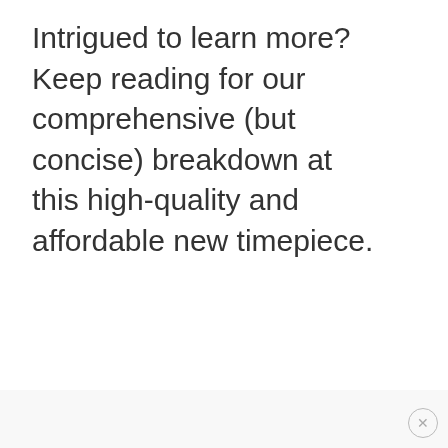Intrigued to learn more? Keep reading for our comprehensive (but concise) breakdown at this high-quality and affordable new timepiece.